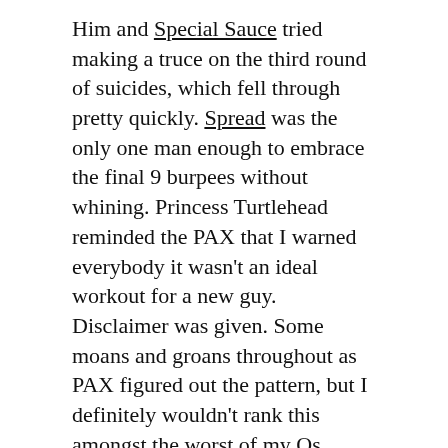Him and Special Sauce tried making a truce on the third round of suicides, which fell through pretty quickly. Spread was the only one man enough to embrace the final 9 burpees without whining. Princess Turtlehead reminded the PAX that I warned everybody it wasn't an ideal workout for a new guy. Disclaimer was given. Some moans and groans throughout as PAX figured out the pattern, but I definitely wouldn't rank this amongst the worst of my Qs.
We wrapped up with the naming ceremony of our FNG Craig, now Stingray. He's from Mississippi, owned a copy of "Flaming Lips" as his first CD, and was a journalist in college. Welcome, sir.
[Figure (other): Tweet button — blue rounded pill button with Twitter bird icon and text 'Tweet']